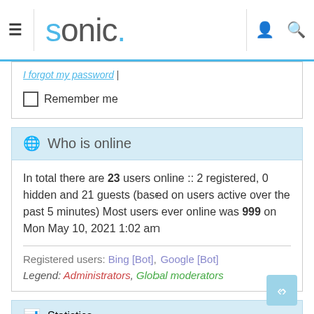sonic.
I forgot my password |
Remember me
Who is online
In total there are 23 users online :: 2 registered, 0 hidden and 21 guests (based on users active over the past 5 minutes) Most users ever online was 999 on Mon May 10, 2021 1:02 am
Registered users: Bing [Bot], Google [Bot]
Legend: Administrators, Global moderators
Statistics
Total posts 45887 • Total topics 6322 • Total members 12244 •